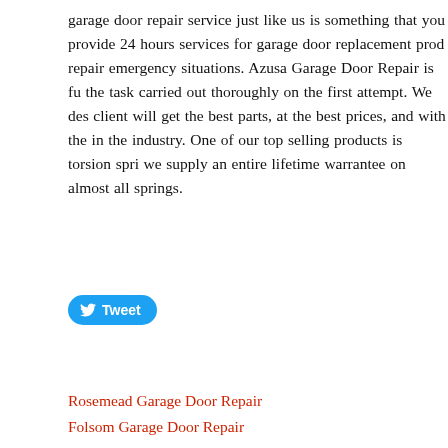garage door repair service just like us is something that you provide 24 hours services for garage door replacement prod repair emergency situations. Azusa Garage Door Repair is fu the task carried out thoroughly on the first attempt. We des client will get the best parts, at the best prices, and with the in the industry. One of our top selling products is torsion spri we supply an entire lifetime warrantee on almost all springs.
[Figure (other): Tweet button with Twitter bird icon]
Rosemead Garage Door Repair
Folsom Garage Door Repair